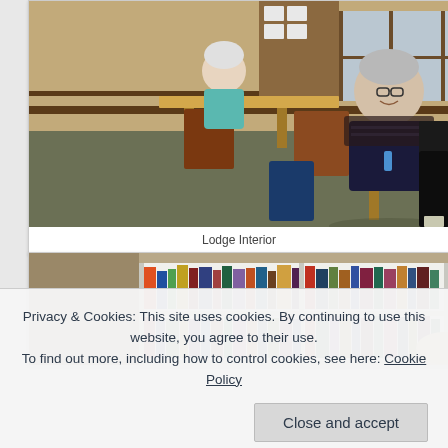[Figure (photo): Interior photo of a lodge dining area. Two women seated at wooden tables. One woman with short white hair wearing a teal/blue sweater is in the background. Another woman with short grey hair wearing a dark patterned sweater/scarf is in the foreground, smiling at the camera. Wooden chairs, papers and items on tables, windows with natural light, shelving with plates in background, grey/green carpet floor.]
Lodge Interior
[Figure (photo): Photo showing bookshelves filled with many colorful books. A person (partially visible, showing just the top of their head) appears to be browsing or arranging books on the shelf. Books are tightly packed and colorful.]
Privacy & Cookies: This site uses cookies. By continuing to use this website, you agree to their use.
To find out more, including how to control cookies, see here: Cookie Policy
Close and accept